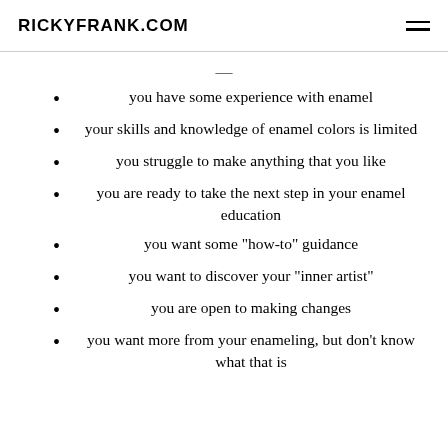RICKYFRANK.COM
you have some experience with enamel
your skills and knowledge of enamel colors is limited
you struggle to make anything that you like
you are ready to take the next step in your enamel education
you want some "how-to" guidance
you want to discover your "inner artist"
you are open to making changes
you want more from your enameling, but don't know what that is